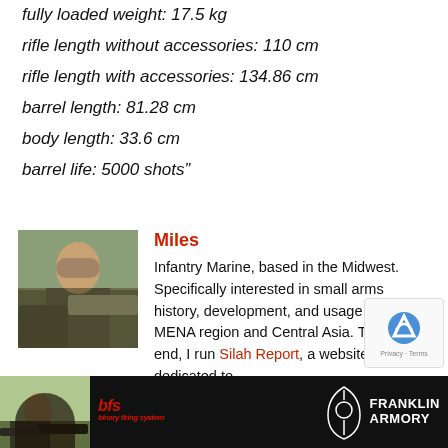fully loaded weight: 17.5 kg
rifle length without accessories: 110 cm
rifle length with accessories: 134.86 cm
barrel length: 81.28 cm
body length: 33.6 cm
barrel life: 5000 shots"
[Figure (photo): Author photo showing a person holding a rifle outdoors]
Miles
Infantry Marine, based in the Midwest. Specifically interested in small arms history, development, and usage within the MENA region and Central Asia. To that end, I run Silah Report, a website dedicated to analyzing small arms history and news out of MENA and Central Asia.
Please feel free to get in touch with me about something I could add to a post, an error I've made, or if you just want to talk guns. I can be reach...
[Figure (photo): Advertisement banner for Franklin Armory showing a shooter with a rifle, BFS logo, and Franklin Armory logo]